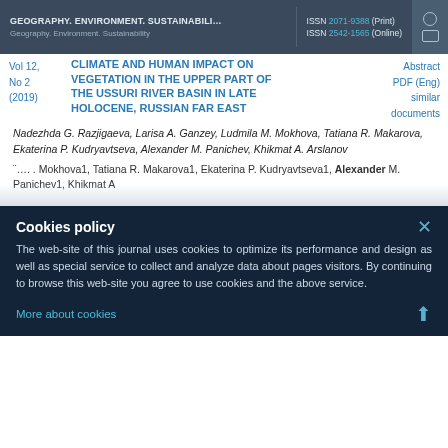GEOGRAPHY. ENVIRONMENT. SUSTAINABILI... | ISSN 2071-9388 (Print) ISSN 2542-1565 (Online) | Geography.Environment.Sustainability
CLIMATE AND HUMAN IMPACT ON VEGETATION IN THE UPPER PART OF THE USSURI RIVER BASIN IN LATE HOLOCENE, RUSSIAN FAR EAST
Abstract PDF (Eng) similar documents
Vol 12, No 2 (2019)
Nadezhda G. Razjigaeva, Larisa A. Ganzey, Ludmila M. Mokhova, Tatiana R. Makarova, Ekaterina P. Kudryavtseva, Alexander M. Panichev, Khikmat A. Arslanov
¨.... Mokhova1, Tatiana R. Makarova1, Ekaterina P. Kudryavtseva1, Alexander M. Panichev1, Khikmat A
Cookies policy
The web-site of this journal uses cookies to optimize its performance and design as well as special service to collect and analyze data about pages visitors. By continuing to browse this web-site you agree to use cookies and the above service.
More about cookies